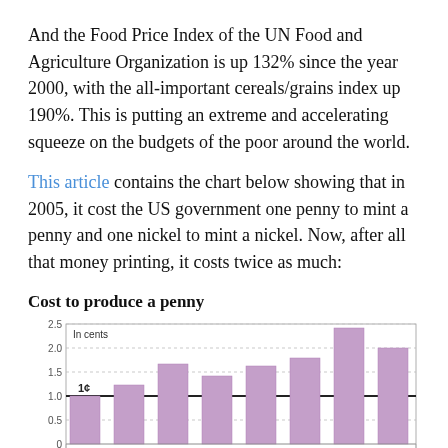And the Food Price Index of the UN Food and Agriculture Organization is up 132% since the year 2000, with the all-important cereals/grains index up 190%. This is putting an extreme and accelerating squeeze on the budgets of the poor around the world.
This article contains the chart below showing that in 2005, it cost the US government one penny to mint a penny and one nickel to mint a nickel. Now, after all that money printing, it costs twice as much:
Cost to produce a penny
[Figure (bar-chart): Cost to produce a penny]
and a nickel